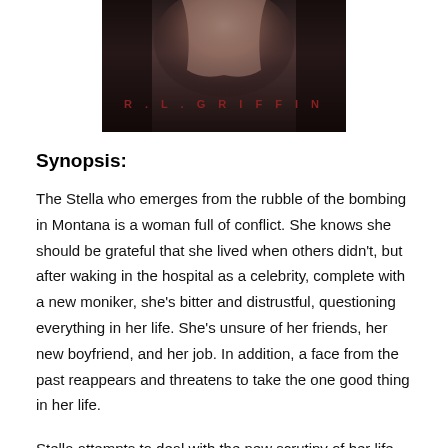[Figure (photo): Book cover image showing a dark, moody close-up with the author name R.L. GRIFFIN in red/dark lettering at the bottom]
Synopsis:
The Stella who emerges from the rubble of the bombing in Montana is a woman full of conflict. She knows she should be grateful that she lived when others didn't, but after waking in the hospital as a celebrity, complete with a new moniker, she's bitter and distrustful, questioning everything in her life. She's unsure of her friends, her new boyfriend, and her job. In addition, a face from the past reappears and threatens to take the one good thing in her life.
Stella attempts to deal with the new scrutiny of her life with